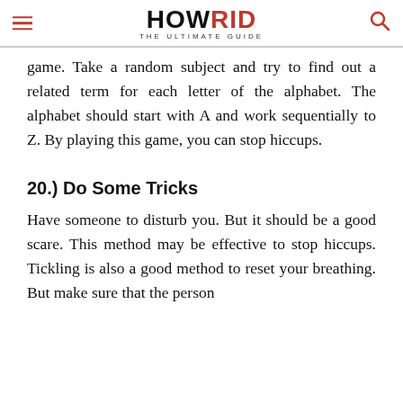HOWRID THE ULTIMATE GUIDE
game. Take a random subject and try to find out a related term for each letter of the alphabet. The alphabet should start with A and work sequentially to Z. By playing this game, you can stop hiccups.
20.) Do Some Tricks
Have someone to disturb you. But it should be a good scare. This method may be effective to stop hiccups. Tickling is also a good method to reset your breathing. But make sure that the person